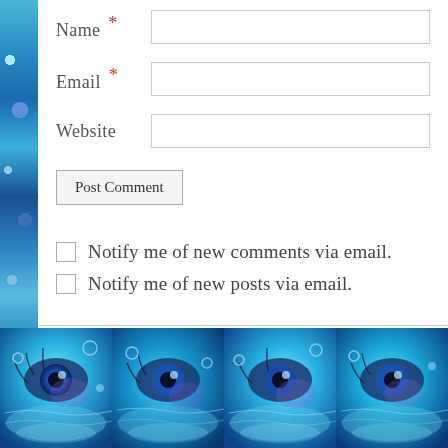Name *
Email *
Website
Post Comment
Notify me of new comments via email.
Notify me of new posts via email.
[Figure (photo): Decorative blue fractal eye water reflection image repeated four times as a horizontal strip at the bottom of the page]